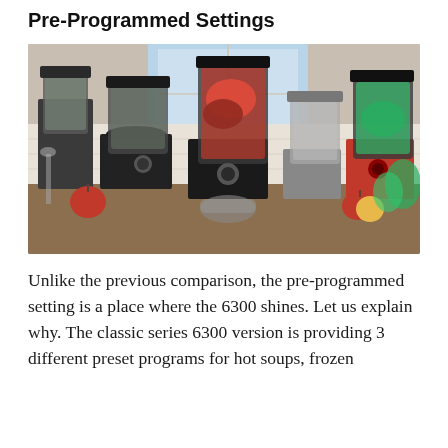Pre-Programmed Settings
[Figure (photo): Multiple Vitamix blender models lined up on a kitchen counter with fruits and vegetables around them. Blenders include red and black models of various sizes with transparent containers holding different ingredients.]
Unlike the previous comparison, the pre-programmed setting is a place where the 6300 shines. Let us explain why. The classic series 6300 version is providing 3 different preset programs for hot soups, frozen